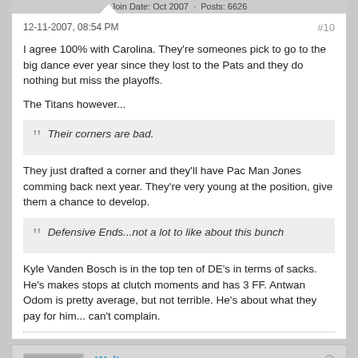Join Date: Oct 2007 · Posts: 6626
12-11-2007, 08:54 PM
#10
I agree 100% with Carolina. They're someones pick to go to the big dance ever year since they lost to the Pats and they do nothing but miss the playoffs.
The Titans however...
Their corners are bad.
They just drafted a corner and they'll have Pac Man Jones comming back next year. They're very young at the position, give them a chance to develop.
Defensive Ends...not a lot to like about this bunch
Kyle Vanden Bosch is in the top ten of DE's in terms of sacks. He's makes stops at clutch moments and has 3 FF. Antwan Odom is pretty average, but not terrible. He's about what they pay for him... can't complain.
Walter
Administrator
1000% USDA Young Stallion